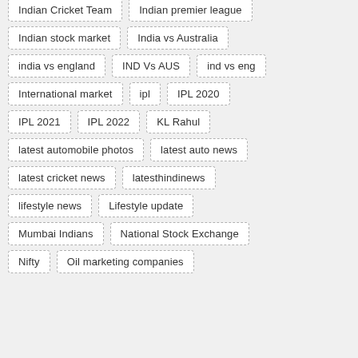Indian Cricket Team
Indian premier league
Indian stock market
India vs Australia
india vs england
IND Vs AUS
ind vs eng
International market
ipl
IPL 2020
IPL 2021
IPL 2022
KL Rahul
latest automobile photos
latest auto news
latest cricket news
latesthindinews
lifestyle news
Lifestyle update
Mumbai Indians
National Stock Exchange
Nifty
Oil marketing companies